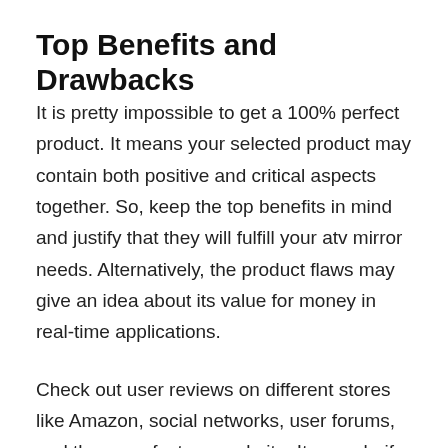Top Benefits and Drawbacks
It is pretty impossible to get a 100% perfect product. It means your selected product may contain both positive and critical aspects together. So, keep the top benefits in mind and justify that they will fulfill your atv mirror needs. Alternatively, the product flaws may give an idea about its value for money in real-time applications.
Check out user reviews on different stores like Amazon, social networks, user forums, and the manufacturer website. It may clarify the top pros and cons for necessary product comparison. In this case, we are already ahead of reviewing them. We are not suggesting doing massive works; look